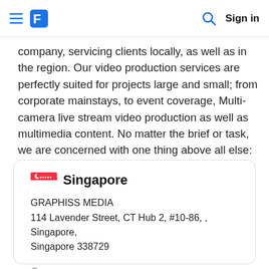≡ [logo] [search icon] Sign in
company, servicing clients locally, as well as in the region. Our video production services are perfectly suited for projects large and small; from corporate mainstays, to event coverage, Multi-camera live stream video production as well as multimedia content. No matter the brief or task, we are concerned with one thing above all else: leveraging technology and talent to meet our client's objectives. It&r  read more
Singapore
GRAPHISS MEDIA
114 Lavender Street, CT Hub 2, #10-86, , Singapore, Singapore 338729
97957705